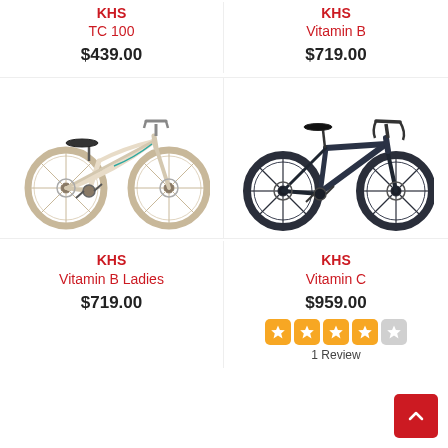KHS TC 100 $439.00
KHS Vitamin B $719.00
[Figure (photo): Cream/beige KHS Vitamin B Ladies bicycle with disc brakes, upright hybrid style]
[Figure (photo): Dark navy/black KHS Vitamin C bicycle with drop handlebars and disc brakes]
KHS Vitamin B Ladies $719.00
KHS Vitamin C $959.00
1 Review (4 out of 5 stars)